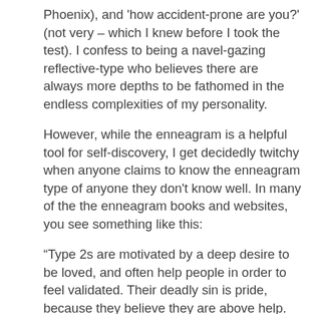Phoenix), and 'how accident-prone are you?' (not very – which I knew before I took the test). I confess to being a navel-gazing reflective-type who believes there are always more depths to be fathomed in the endless complexities of my personality.
However, while the enneagram is a helpful tool for self-discovery, I get decidedly twitchy when anyone claims to know the enneagram type of anyone they don't know well. In many of the the enneagram books and websites, you see something like this:
“Type 2s are motivated by a deep desire to be loved, and often help people in order to feel validated. Their deadly sin is pride, because they believe they are above help. Examples of this might include Mother Theresa and Elizabeth Taylor.”
(Mother Theresa and Elizabeth Taylor seem like such a natural pairing, wouldn’t you say?)